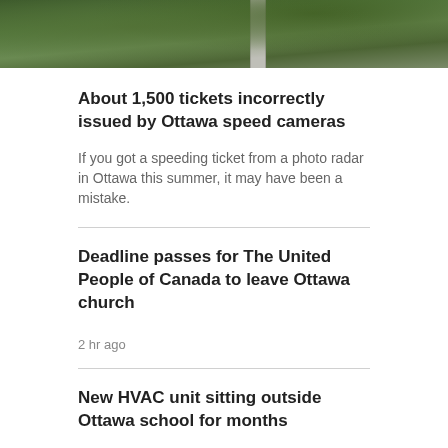[Figure (photo): Photo of trees and a light pole or tree trunk, cropped at top of page]
About 1,500 tickets incorrectly issued by Ottawa speed cameras
If you got a speeding ticket from a photo radar in Ottawa this summer, it may have been a mistake.
Deadline passes for The United People of Canada to leave Ottawa church
2 hr ago
New HVAC unit sitting outside Ottawa school for months
TORONTO